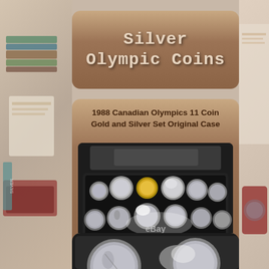Silver Olympic Coins
1988 Canadian Olympics 11 Coin Gold and Silver Set Original Case
[Figure (photo): Open black display case containing 11 coins arranged in two rows — silver Olympic commemorative coins and one gold coin in the center, with an eBay watermark overlay]
[Figure (photo): Partial view of two silver coins, one showing an Olympic figure skater design]